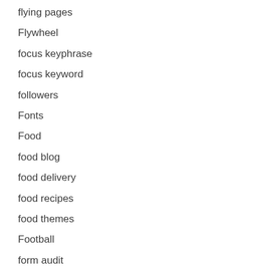flying pages
Flywheel
focus keyphrase
focus keyword
followers
Fonts
Food
food blog
food delivery
food recipes
food themes
Football
form audit